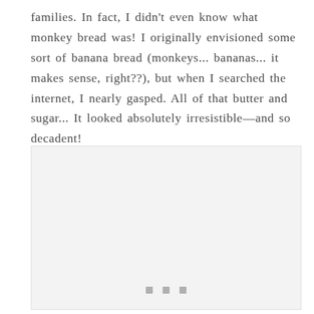families. In fact, I didn't even know what monkey bread was! I originally envisioned some sort of banana bread (monkeys... bananas... it makes sense, right??), but when I searched the internet, I nearly gasped. All of that butter and sugar... It looked absolutely irresistible—and so decadent!
[Figure (photo): A light gray placeholder image block with three small gray squares at the bottom center, representing a photo of monkey bread.]